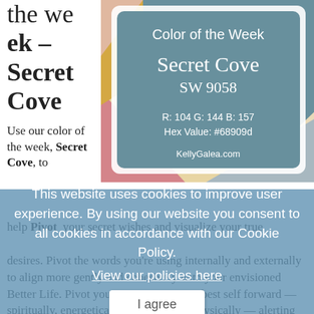the week – Secret Cove
[Figure (illustration): Color of the week card for Secret Cove SW 9058 with color palette patches in the background. Shows paint swatch card with teal/blue-grey center color, surrounded by complementary color patches (pink, gold, cream, light blue). Text on card: Color of the Week, Secret Cove, SW 9058, R: 104 G: 144 B: 157, Hex Value: #68909d, KellyGalea.com]
Use our color of the week, Secret Cove, to help Pivot your secret wishes and visualize your true desires. Pivot the words you're using internally and externally to align more gently and cohesively with your envisioned Better Life. Pivot your actions. Put your best self forward — spiritually, energetically, mentally and physically — alerting the Universe that you are ready and receptive, welcoming in that Better Life. Believe and know it is within reach.
This website uses cookies to improve user experience. By using our website you consent to all cookies in accordance with our Cookie Policy. View our policies here
I agree